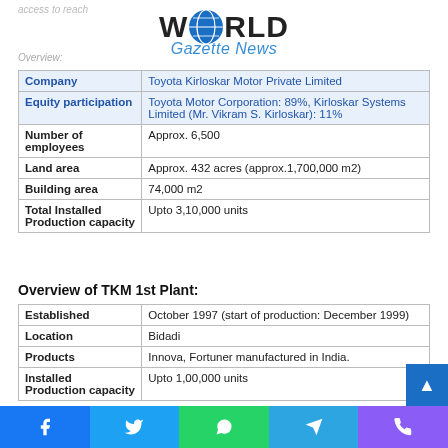[Figure (logo): World Gazette News logo with globe icon]
|  |  |
| --- | --- |
| Company | Toyota Kirloskar Motor Private Limited |
| Equity participation | Toyota Motor Corporation: 89%, Kirloskar Systems Limited (Mr. Vikram S. Kirloskar): 11% |
| Number of employees | Approx. 6,500 |
| Land area | Approx. 432 acres (approx.1,700,000 m2) |
| Building area | 74,000 m2 |
| Total Installed Production capacity | Upto 3,10,000 units |
Overview of TKM 1st Plant:
|  |  |
| --- | --- |
| Established | October 1997 (start of production: December 1999) |
| Location | Bidadi |
| Products | Innova, Fortuner manufactured in India. |
| Installed Production capacity | Upto 1,00,000 units |